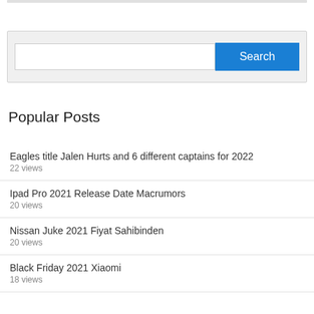[Figure (screenshot): Search bar with white input field and blue 'Search' button on a light grey background]
Popular Posts
Eagles title Jalen Hurts and 6 different captains for 2022
22 views
Ipad Pro 2021 Release Date Macrumors
20 views
Nissan Juke 2021 Fiyat Sahibinden
20 views
Black Friday 2021 Xiaomi
18 views